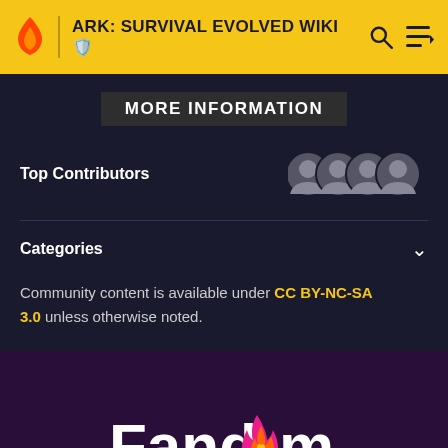ARK: SURVIVAL EVOLVED WIKI
MORE INFORMATION
Top Contributors
Categories
Community content is available under CC BY-NC-SA 3.0 unless otherwise noted.
[Figure (logo): Fandom logo with flame icon and heart]
EXPLORE PROPERTIES